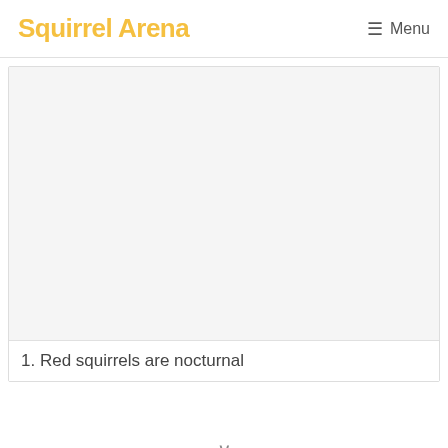Squirrel Arena   ☰ Menu
[Figure (photo): A large light gray placeholder image area representing a photo of a red squirrel]
1. Red squirrels are nocturnal